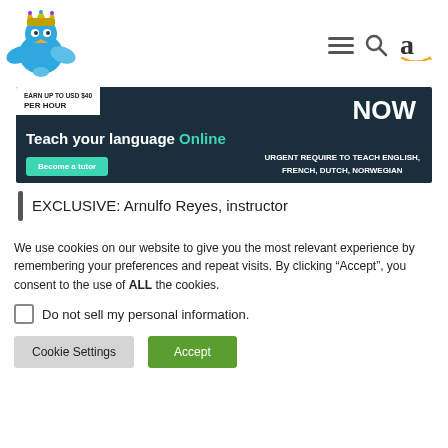[Figure (logo): Blue cartoon bird with crown wearing a tiara, serving as website logo]
[Figure (other): Navigation icons: hamburger menu, search magnifying glass, and Amazon 'a' logo]
[Figure (infographic): Banner ad with dark background: 'Teach your language Online', 'Become a tutor', 'URGENT REQUIRE TO TEACH ENGLISH, FRENCH, DUTCH, NORWEGIAN', 'NOW', 'EARN UP TO USD $40 PER HOUR']
EXCLUSIVE: Arnulfo Reyes, instructor
We use cookies on our website to give you the most relevant experience by remembering your preferences and repeat visits. By clicking “Accept”, you consent to the use of ALL the cookies.
Do not sell my personal information.
Cookie Settings
Accept